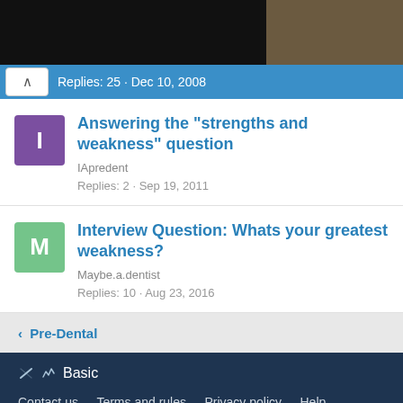[Figure (screenshot): Top banner image: dark/black panel on left, brownish image on right]
Replies: 25 · Dec 10, 2008
Answering the "strengths and weakness" question
IApredent
Replies: 2 · Sep 19, 2011
Interview Question: Whats your greatest weakness?
Maybe.a.dentist
Replies: 10 · Aug 23, 2016
< Pre-Dental
Basic
Contact us  Terms and rules  Privacy policy  Help  Home
Copyright © 1999-2022 Health Professional Student Association, a 501(c)3 nonprofit organization. All resources are student and donor supported. | SDN is HON Certified